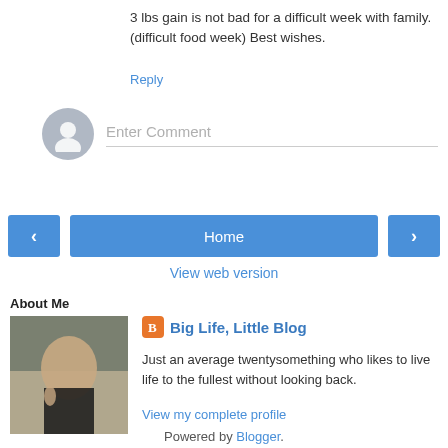3 lbs gain is not bad for a difficult week with family. (difficult food week) Best wishes.
Reply
[Figure (illustration): Gray circular avatar placeholder icon for comment entry]
Enter Comment
[Figure (infographic): Navigation bar with left arrow button, Home button, and right arrow button]
View web version
About Me
[Figure (photo): Profile photo of a woman on a beach]
Big Life, Little Blog
Just an average twentysomething who likes to live life to the fullest without looking back.
View my complete profile
Powered by Blogger.